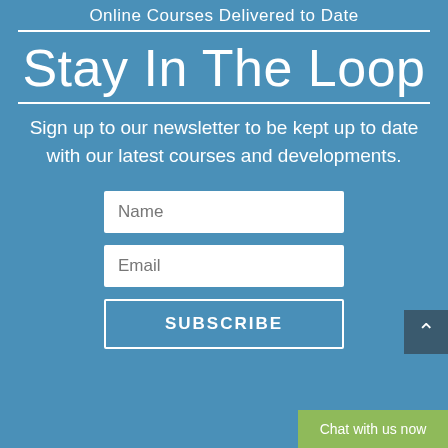Online Courses Delivered to Date
Stay In The Loop
Sign up to our newsletter to be kept up to date with our latest courses and developments.
[Figure (screenshot): Newsletter signup form with Name input field, Email input field, and SUBSCRIBE button on a blue background. A dark blue scroll-to-top button and a green 'Chat with us now' button are also visible.]